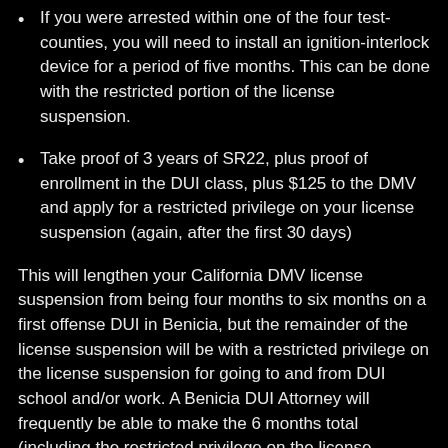If you were arrested within one of the four test-counties, you will need to install an ignition-interlock device for a period of five months. This can be done with the restricted portion of the license suspension.
Take proof of 3 years of SR22, plus proof of enrollment in the DUI class, plus $125 to the DMV and apply for a restricted privilege on your license suspension (again, after the first 30 days)
This will lengthen your California DMV license suspension from being four months to six months on a first offense DUI in Benicia, but the remainder of the license suspension will be with a restricted privilege on the license suspension for going to and from DUI school and/or work. A Benicia DUI Attorney will frequently be able to make the 6 months total (including the restricted privilege on the license suspension) be the same six months that the court license suspension runs for the conviction. The court license suspension is also eligible for a